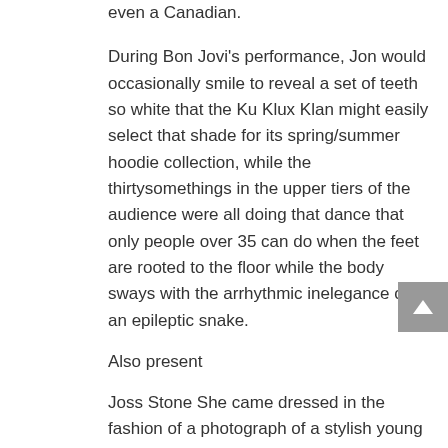even a Canadian.
During Bon Jovi's performance, Jon would occasionally smile to reveal a set of teeth so white that the Ku Klux Klan might easily select that shade for its spring/summer hoodie collection, while the thirtysomethings in the upper tiers of the audience were all doing that dance that only people over 35 can do when the feet are rooted to the floor while the body sways with the arrhythmic inelegance of an epileptic snake.
Also present
Joss Stone She came dressed in the fashion of a photograph of a stylish young woman that has been mischievously manipulated by a 14-year-old with Photoshop. Her long hair was seemed to have been transposed from a waterfall of blood